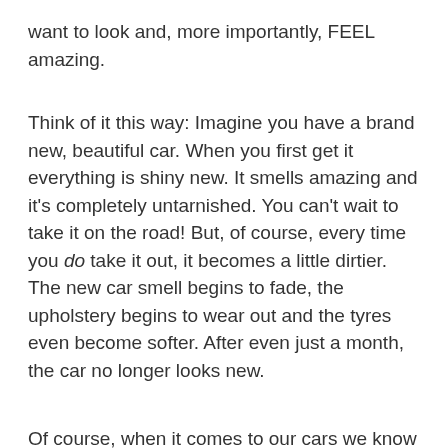want to look and, more importantly, FEEL amazing.
Think of it this way: Imagine you have a brand new, beautiful car. When you first get it everything is shiny new. It smells amazing and it’s completely untarnished. You can’t wait to take it on the road! But, of course, every time you do take it out, it becomes a little dirtier. The new car smell begins to fade, the upholstery begins to wear out and the tyres even become softer. After even just a month, the car no longer looks new.
Of course, when it comes to our cars we know that in order to maintain them we need to regularly take it